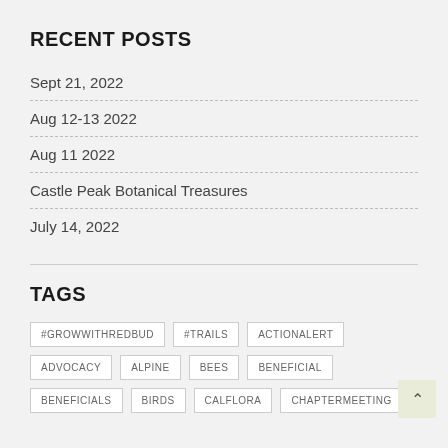RECENT POSTS
Sept 21, 2022
Aug 12-13 2022
Aug 11 2022
Castle Peak Botanical Treasures
July 14, 2022
TAGS
#GROWWITHREDBUD
#TRAILS
ACTIONALERT
ADVOCACY
ALPINE
BEES
BENEFICIAL
BENEFICIALS
BIRDS
CALFLORA
CHAPTERMEETING